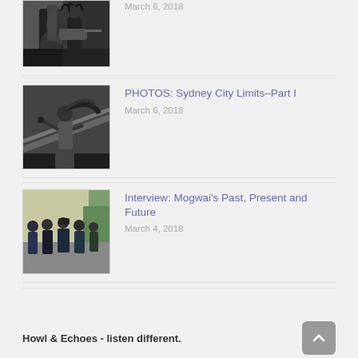[Figure (photo): Black and white photo of a guitarist with dreadlocks performing on stage]
March 6, 2018
[Figure (photo): Black and white photo of a female singer with long hair swinging, holding a microphone]
PHOTOS: Sydney City Limits–Part I
March 6, 2018
[Figure (photo): Color photo of a band (Mogwai) posing together, standing in front of a wall]
Interview: Mogwai’s Past, Present and Future
March 4, 2018
Howl & Echoes - listen different.